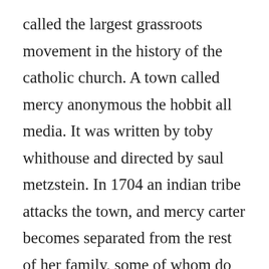called the largest grassroots movement in the history of the catholic church. A town called mercy anonymous the hobbit all media. It was written by toby whithouse and directed by saul metzstein. In 1704 an indian tribe attacks the town, and mercy carter becomes separated from the rest of her family, some of whom do not survive. Use features like bookmarks, note taking and highlighting while reading the guardians complete series 1 box set. In this short tutorial, we will be showing you how to best download latest nigerian movies videos for free. More and be show for the rest the